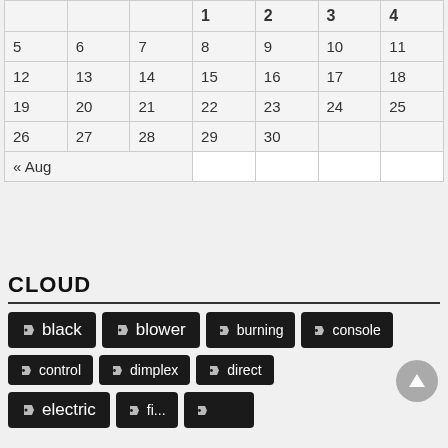|  |  |  | 1 | 2 | 3 | 4 |
| --- | --- | --- | --- | --- | --- | --- |
| 5 | 6 | 7 | 8 | 9 | 10 | 11 |
| 12 | 13 | 14 | 15 | 16 | 17 | 18 |
| 19 | 20 | 21 | 22 | 23 | 24 | 25 |
| 26 | 27 | 28 | 29 | 30 |  |  |
| « Aug |  |  |  |  |  |  |
CLOUD
black
blower
burning
console
control
dimplex
direct
electric
fire (partial)